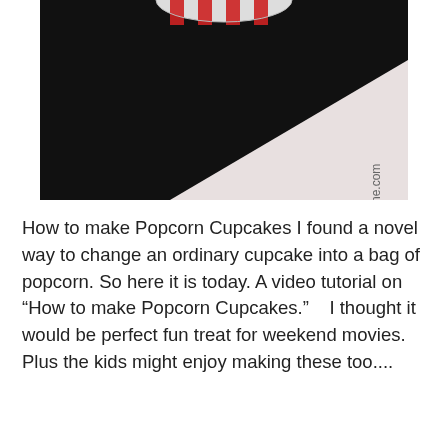[Figure (photo): Partial view of a popcorn cupcake image with a black background and a diagonal light-colored section with a watermark text '.ne.com' rotated vertically on the right side.]
How to make Popcorn Cupcakes I found a novel way to change an ordinary cupcake into a bag of popcorn. So here it is today. A video tutorial on “How to make Popcorn Cupcakes.”    I thought it would be perfect fun treat for weekend movies. Plus the kids might enjoy making these too....